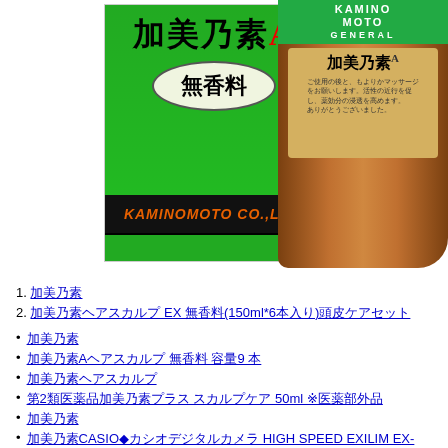[Figure (photo): Product photo showing Kaminomoto A (無香料 / fragrance-free) green box on the left and amber glass bottle with green and gold label on the right. Box shows Japanese characters 加美乃素A, oval badge 無香料, and KAMINOMOTO CO.,LTD. at the bottom. Bottle label shows KAMINO MOTO GENERAL branding at top and 加美乃素A on a gold label.]
1. 加美乃素
2. 加美乃素ヘアスカルプEX 無香料(150ml*6本入り)頭皮ケアセット
• 加美乃素
• 加美乃素Aヘアスカルプ 無香料 容量9 本
• 加美乃素ヘアスカルプ
• 第2類医薬品加美乃素プラス スカルプケア 50ml ※医薬部外品
• 加美乃素
• 加美乃素CASIO◆カシオデジタルカメラ HIGH SPEED EXILIM EX-ZR200RD